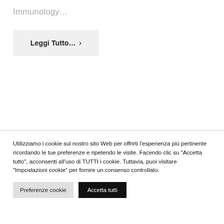Immunology…
Leggi Tutto… >
Utilizziamo i cookie sul nostro sito Web per offrirti l'esperienza più pertinente ricordando le tue preferenze e ripetendo le visite. Facendo clic su "Accetta tutto", acconsenti all'uso di TUTTI i cookie. Tuttavia, puoi visitare "Impostazioni cookie" per fornire un consenso controllato.
Preferenze cookie
Accetta tutti